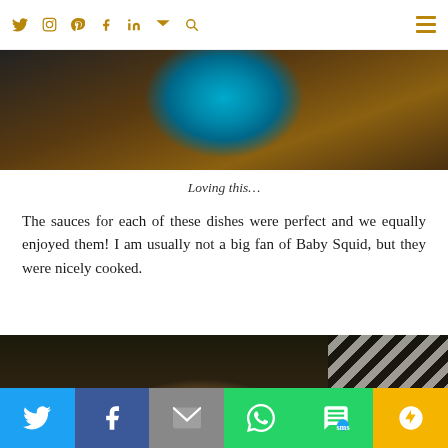Social media navigation icons: Twitter, Instagram, Pinterest, Facebook, LinkedIn, Email, Search, Menu
[Figure (photo): Top portion of a restaurant table scene showing a blue glass/bowl on a wooden table surface]
Loving this…
The sauces for each of these dishes were perfect and we equally enjoyed them! I am usually not a big fan of Baby Squid, but they were nicely cooked.
[Figure (photo): Person in a black and white chevron/zigzag patterned top eating food at a restaurant, with dishes on a white plate/box]
Social share buttons: Twitter, Facebook, Email, WhatsApp, SMS, More